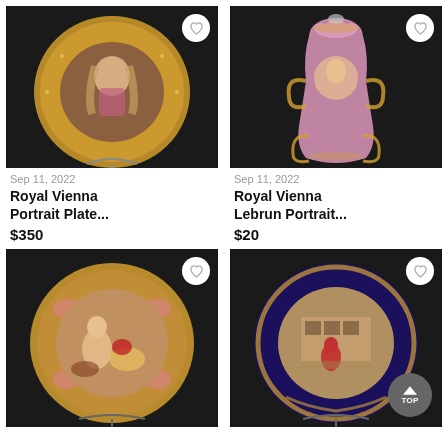[Figure (photo): Royal Vienna Portrait Plate on stand, gold rim with portrait of a woman, dark background]
Sep 11, 2022
Royal Vienna Portrait Plate...
$350
[Figure (photo): Royal Vienna Lebrun Portrait pink ornate vase on dark background]
Sep 11, 2022
Royal Vienna Lebrun Portrait...
$20
[Figure (photo): Royal Vienna decorative plate with classical scene, gold rim, on dark background]
[Figure (photo): Royal Vienna decorative plate with interior scene, cobalt blue and gold rim, on dark background]